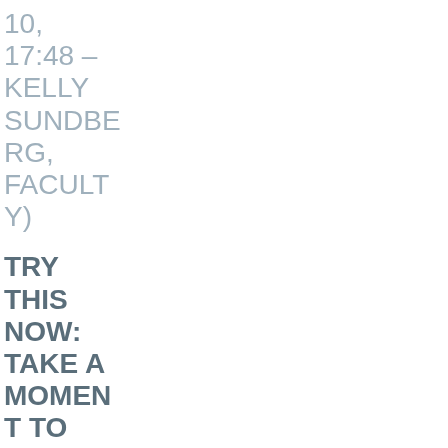10, 17:48 – KELLY SUNDBERG, FACULTY)
TRY THIS NOW: TAKE A MOMENT TO LISTEN TO YOUR INNER MONOLOGUE: HTTPS://MRU.CA/FAF3 (THRIVE GLOBAL – FAMIRA